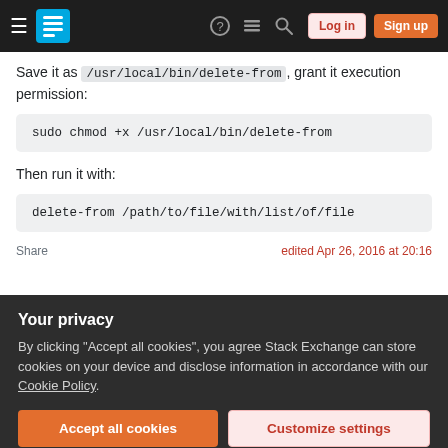Stack Exchange navigation bar with Log in and Sign up buttons
Save it as /usr/local/bin/delete-from , grant it execution permission:
Then run it with:
Share   edited Apr 26, 2016 at 20:16
Your privacy
By clicking "Accept all cookies", you agree Stack Exchange can store cookies on your device and disclose information in accordance with our Cookie Policy.
Accept all cookies   Customize settings
2   Really clean answer, but cat is not required, you can